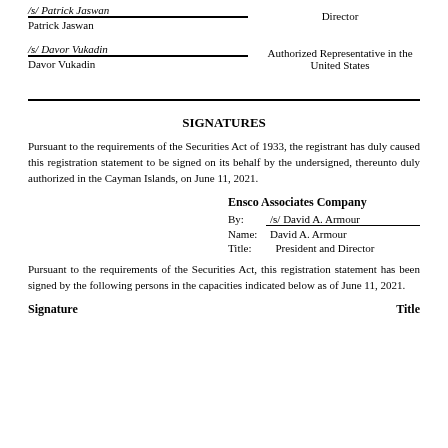/s/ Patrick Jaswan
Patrick Jaswan
Director
/s/ Davor Vukadin
Davor Vukadin
Authorized Representative in the United States
SIGNATURES
Pursuant to the requirements of the Securities Act of 1933, the registrant has duly caused this registration statement to be signed on its behalf by the undersigned, thereunto duly authorized in the Cayman Islands, on June 11, 2021.
Ensco Associates Company
By: /s/ David A. Armour
Name: David A. Armour
Title: President and Director
Pursuant to the requirements of the Securities Act, this registration statement has been signed by the following persons in the capacities indicated below as of June 11, 2021.
Signature	Title